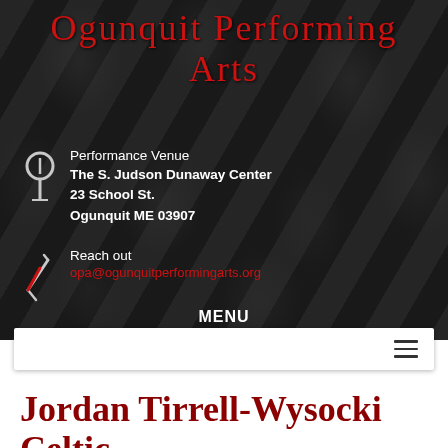Ogunquit Performing Arts
Performance Venue
The S. Judson Dunaway Center
23 School St.
Ogunquit ME 03907
Reach out
opa@ogunquitperformingarts.org
MENU
[Figure (screenshot): Navigation bar with hamburger menu icon on white background]
Jordan Tirrell-Wysocki Celtic